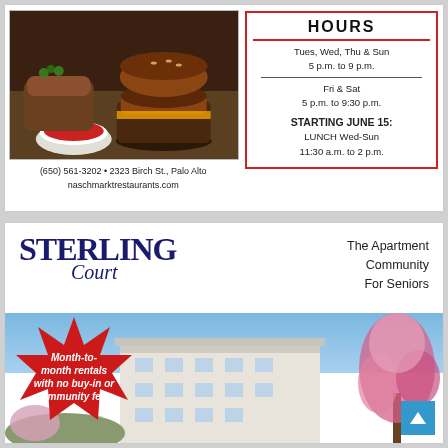[Figure (photo): Food photo showing burgers, sliders, and a side of ketchup]
(650) 561-3202 • 2323 Birch St., Palo Alto
naschmarktrestaurants.com
HOURS
Tues, Wed, Thu & Sun
5 p.m. to 9 p.m.
Fri & Sat
5 p.m. to 9:30 p.m.
STARTING JUNE 15:
LUNCH Wed-Sun
11:30 a.m. to 2 p.m.
[Figure (photo): Sterling Court apartment community for seniors ad with building photo and starburst promotional text]
Sterling Court
The Apartment Community For Seniors
Month-to-month rentals with no buy-in or community fees